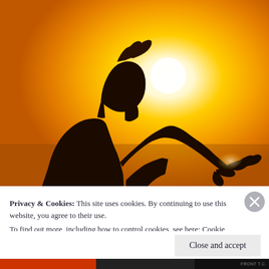[Figure (photo): Silhouette of a woman in profile against a bright golden-yellow sunset, her hands raised and open as if holding or releasing the sun. Warm amber and golden tones fill the background.]
Privacy & Cookies: This site uses cookies. By continuing to use this website, you agree to their use.
To find out more, including how to control cookies, see here: Cookie Policy
Close and accept